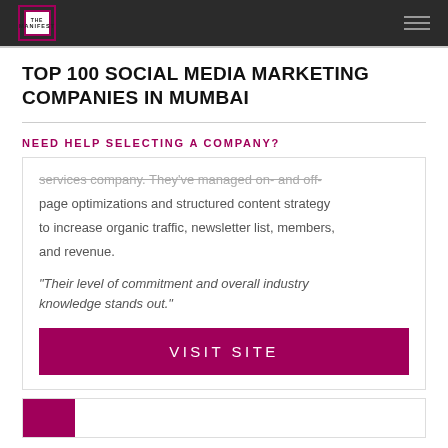THE MANIFEST
TOP 100 SOCIAL MEDIA MARKETING COMPANIES IN MUMBAI
NEED HELP SELECTING A COMPANY?
services company. They've managed on- and off-page optimizations and structured content strategy to increase organic traffic, newsletter list, members, and revenue.
"Their level of commitment and overall industry knowledge stands out."
VISIT SITE